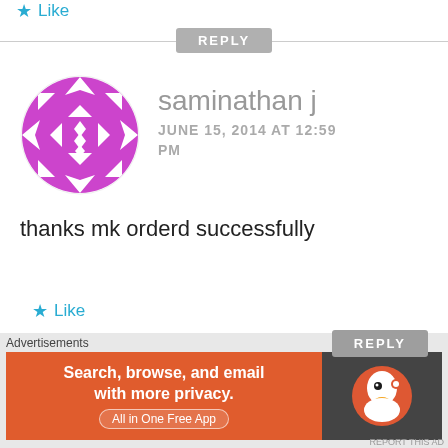Like
REPLY
saminathan j
JUNE 15, 2014 AT 12:59 PM
thanks mk orderd successfully
Like
REPLY
Abhishek
[Figure (photo): Geometric purple/magenta avatar icon with diamond and arrow pattern]
[Figure (logo): Orange bird/animal logo for next commenter Abhishek]
Advertisements
Search, browse, and email with more privacy. All in One Free App
[Figure (logo): DuckDuckGo logo on dark background]